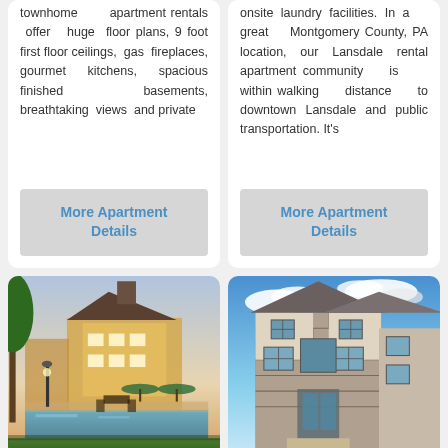townhome apartment rentals offer huge floor plans, 9 foot first floor ceilings, gas fireplaces, gourmet kitchens, spacious finished basements, breathtaking views and private
onsite laundry facilities. In a great Montgomery County, PA location, our Lansdale rental apartment community is within walking distance to downtown Lansdale and public transportation. It's
More Apartment Details
More Apartment Details
[Figure (photo): Exterior view of an apartment community building at dusk with a pool and outdoor seating in the foreground, trees visible on the left]
[Figure (photo): Exterior view of a multi-story townhome/apartment building with stone and siding facade under a blue sky with clouds]